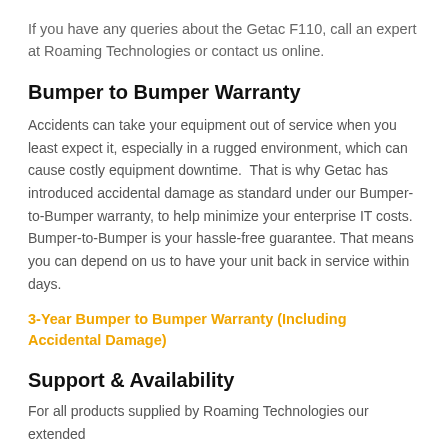If you have any queries about the Getac F110, call an expert at Roaming Technologies or contact us online.
Bumper to Bumper Warranty
Accidents can take your equipment out of service when you least expect it, especially in a rugged environment, which can cause costly equipment downtime.  That is why Getac has introduced accidental damage as standard under our Bumper-to-Bumper warranty, to help minimize your enterprise IT costs.  Bumper-to-Bumper is your hassle-free guarantee. That means you can depend on us to have your unit back in service within days.
3-Year Bumper to Bumper Warranty (Including Accidental Damage)
Support & Availability
For all products supplied by Roaming Technologies our extended